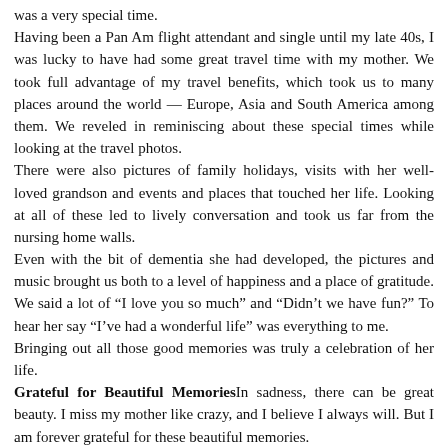was a very special time.
Having been a Pan Am flight attendant and single until my late 40s, I was lucky to have had some great travel time with my mother. We took full advantage of my travel benefits, which took us to many places around the world — Europe, Asia and South America among them. We reveled in reminiscing about these special times while looking at the travel photos.
There were also pictures of family holidays, visits with her well-loved grandson and events and places that touched her life. Looking at all of these led to lively conversation and took us far from the nursing home walls.
Even with the bit of dementia she had developed, the pictures and music brought us both to a level of happiness and a place of gratitude. We said a lot of “I love you so much” and “Didn’t we have fun?” To hear her say “I’ve had a wonderful life” was everything to me.
Bringing out all those good memories was truly a celebration of her life.
Grateful for Beautiful Memories In sadness, there can be great beauty. I miss my mother like crazy, and I believe I always will. But I am forever grateful for these beautiful memories.
When it comes right down to it, all we have is memories. You don’t